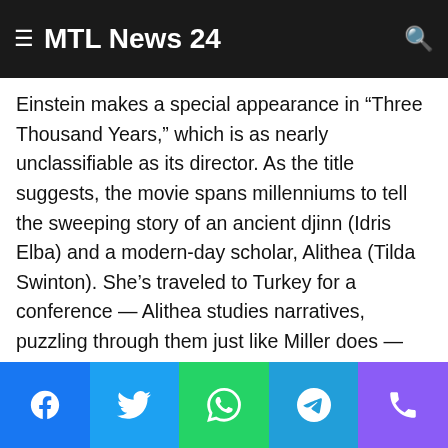MTL News 24
Einstein makes a special appearance in “Three Thousand Years,” which is as nearly unclassifiable as its director. As the title suggests, the movie spans millenniums to tell the sweeping story of an ancient djinn (Idris Elba) and a modern-day scholar, Alithea (Tilda Swinton). She’s traveled to Turkey for a conference — Alithea studies narratives, puzzling through them just like Miller does — but her plans take an unforeseen turn when she opens a peculiar blue-and-white-striped bottle that she’s bought, inadvertently releasing the djinn from a long captivity. What follows is a fantastical fable of love and suffering, imprisonment and release, mythology and the material world.